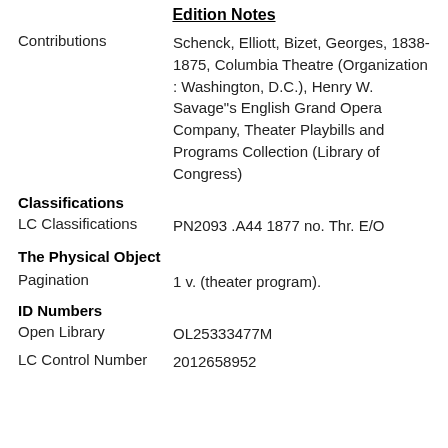Edition Notes
Contributions: Schenck, Elliott, Bizet, Georges, 1838-1875, Columbia Theatre (Organization : Washington, D.C.), Henry W. Savage"s English Grand Opera Company, Theater Playbills and Programs Collection (Library of Congress)
Classifications
LC Classifications: PN2093 .A44 1877 no. Thr. E/O
The Physical Object
Pagination: 1 v. (theater program).
ID Numbers
Open Library: OL25333477M
LC Control Number: 2012658952